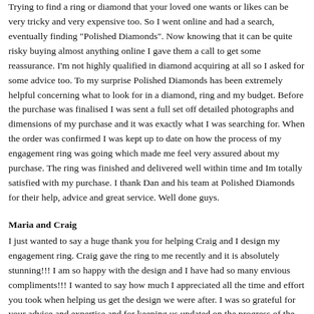Trying to find a ring or diamond that your loved one wants or likes can be very tricky and very expensive too. So I went online and had a search, eventually finding "Polished Diamonds". Now knowing that it can be quite risky buying almost anything online I gave them a call to get some reassurance. I'm not highly qualified in diamond acquiring at all so I asked for some advice too. To my surprise Polished Diamonds has been extremely helpful concerning what to look for in a diamond, ring and my budget. Before the purchase was finalised I was sent a full set off detailed photographs and dimensions of my purchase and it was exactly what I was searching for. When the order was confirmed I was kept up to date on how the process of my engagement ring was going which made me feel very assured about my purchase. The ring was finished and delivered well within time and Im totally satisfied with my purchase. I thank Dan and his team at Polished Diamonds for their help, advice and great service. Well done guys.
Maria and Craig
I just wanted to say a huge thank you for helping Craig and I design my engagement ring. Craig gave the ring to me recently and it is absolutely stunning!!! I am so happy with the design and I have had so many envious compliments!!! I wanted to say how much I appreciated all the time and effort you took when helping us get the design we were after. I was so grateful for your advice and expertise and for keeping us updated on the progress of the ring. Thanks again for all your patience (with my continued changes, questions and general nervousness), invaluable advice and for helping create a uniquely stunning engagement ring. I will email you soon to get an idea of costs for a matching wedding band. Thank you again, Maria and Craig